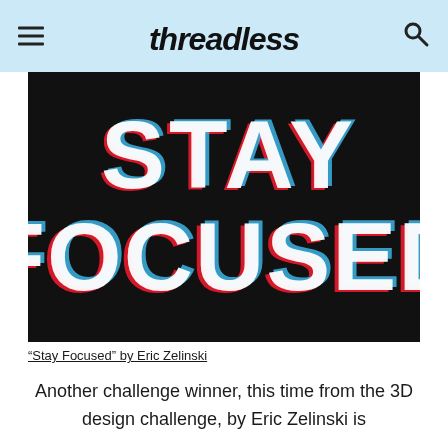Threadless
[Figure (illustration): 3D anaglyph style typographic design on black background showing bold text 'STAY FOCUSED' in red, white, and blue with 3D offset effect]
“Stay Focused” by Eric Zelinski
Another challenge winner, this time from the 3D design challenge, by Eric Zelinski is